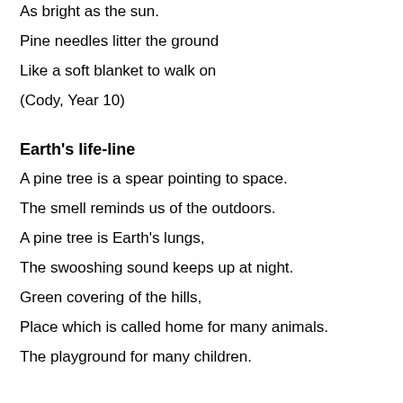As bright as the sun.
Pine needles litter the ground
Like a soft blanket to walk on
(Cody, Year 10)
Earth's life-line
A pine tree is a spear pointing to space.
The smell reminds us of the outdoors.
A pine tree is Earth's lungs,
The swooshing sound keeps up at night.
Green covering of the hills,
Place which is called home for many animals.
The playground for many children.